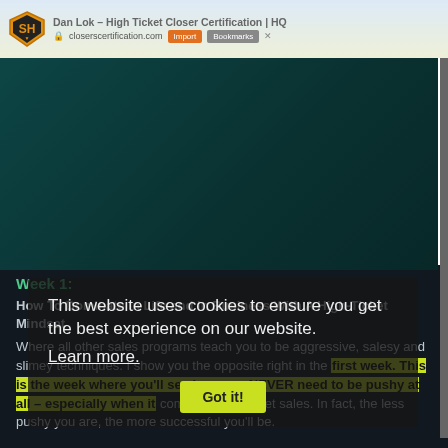Dan Lok – High Ticket Closer Certification | HQ
[Figure (screenshot): Dark teal video player area embedded in a course website]
Week 1:
How To Dominate In Life and In Business With A High-Ticket Mindset
Where all other sales programs teach you to be aggressive, salesy and slimey techniques. I show you the opposite right in the first week. This is the week where you'll see how you NEVER need to be pushy at all – especially when it comes to high-ticket sales. In fact, the less pushy you are, the more successful you'll be.
This website uses cookies to ensure you get the best experience on our website.
Learn more.
Got it!